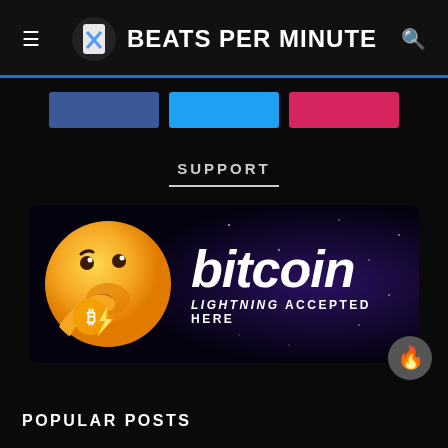BEATS PER MINUTE
[Figure (screenshot): Three social media share buttons: Facebook (dark blue), Twitter (light blue), Pinterest/Instagram (pink/red)]
SUPPORT
[Figure (illustration): Bitcoin Lightning Accepted Here banner: emoji face hugging a Bitcoin symbol on left; 'bitcoin LIGHTNING ACCEPTED HERE' text on dark purple starfield background on right]
POPULAR POSTS